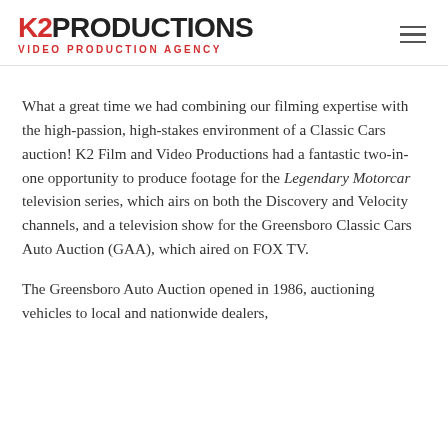K2PRODUCTIONS VIDEO PRODUCTION AGENCY
What a great time we had combining our filming expertise with the high-passion, high-stakes environment of a Classic Cars auction! K2 Film and Video Productions had a fantastic two-in-one opportunity to produce footage for the Legendary Motorcar television series, which airs on both the Discovery and Velocity channels, and a television show for the Greensboro Classic Cars Auto Auction (GAA), which aired on FOX TV.
The Greensboro Auto Auction opened in 1986, auctioning vehicles to local and nationwide dealers,